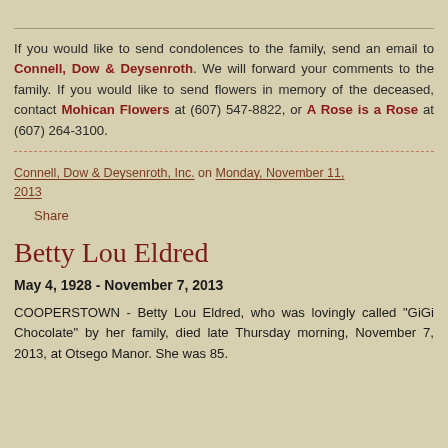If you would like to send condolences to the family, send an email to Connell, Dow & Deysenroth. We will forward your comments to the family. If you would like to send flowers in memory of the deceased, contact Mohican Flowers at (607) 547-8822, or A Rose is a Rose at (607) 264-3100.
Connell, Dow & Deysenroth, Inc. on Monday, November 11, 2013
Share
Betty Lou Eldred
May 4, 1928 - November 7, 2013
COOPERSTOWN - Betty Lou Eldred, who was lovingly called "GiGi Chocolate" by her family, died late Thursday morning, November 7, 2013, at Otsego Manor. She was 85.